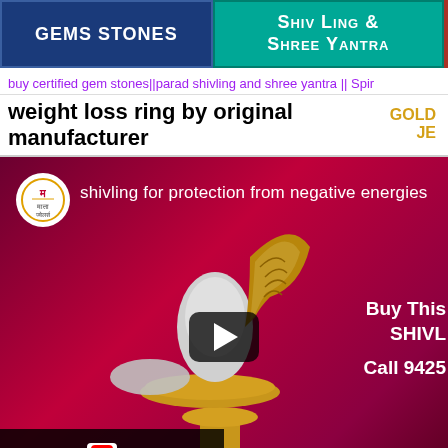GEMS STONES | SHIV LING & SHREE YANTRA
buy certified gem stones||parad shivling and shree yantra || Spir
weight loss ring by original manufacturer
GOLD JE
[Figure (screenshot): YouTube video thumbnail showing a parad shivling (mercury shivling) on a brass stand with a cobra, on a crimson background. Title: 'shivling for protection from negative energies'. Text overlay: 'Buy This SHIVL', 'Call 9425'. Logo circle with Hindi text top left. Play button in center. YouTube 'Watch on YouTube' bar at bottom left.]